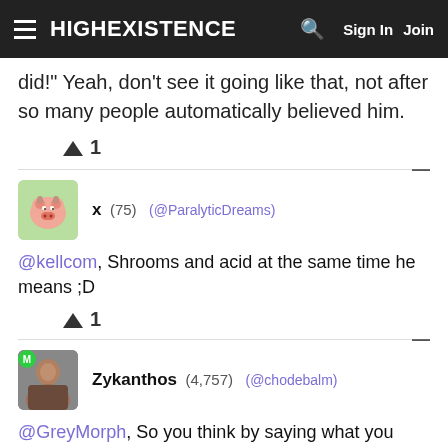HIGHEXISTENCE | Sign In | Join
did!" Yeah, don't see it going like that, not after so many people automatically believed him.
▲ 1
x (75) (@ParalyticDreams)
@kellcom, Shrooms and acid at the same time he means ;D
▲ 1
Zykanthos (4,757) (@chodebalm)
@GreyMorph, So you think by saying what you said, you're